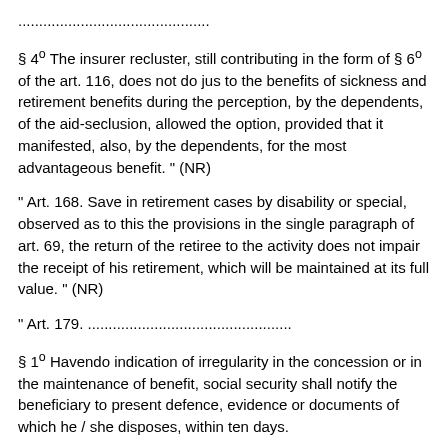..............................................
§ 4º The insurer recluster, still contributing in the form of § 6º of the art. 116, does not do jus to the benefits of sickness and retirement benefits during the perception, by the dependents, of the aid-seclusion, allowed the option, provided that it manifested, also, by the dependents, for the most advantageous benefit. " (NR)
" Art. 168. Save in retirement cases by disability or special, observed as to this the provisions in the single paragraph of art. 69, the return of the retiree to the activity does not impair the receipt of his retirement, which will be maintained at its full value. " (NR)
" Art. 179. .................................................
§ 1º Havendo indication of irregularity in the concession or in the maintenance of benefit, social security shall notify the beneficiary to present defence, evidence or documents of which he / she disposes, within ten days.
§ 2º The notification referred to in § 1º shall be made by post with notice of receipt and, failing to appear the beneficiary nor by presenting defence, shall be suspended for the benefit, with notification to the beneficiary.